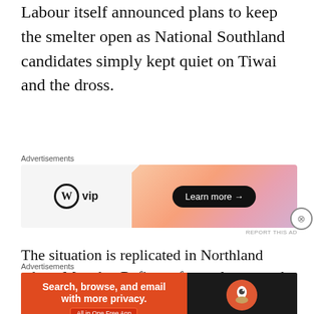Labour itself announced plans to keep the smelter open as National Southland candidates simply kept quiet on Tiwai and the dross.
[Figure (other): Advertisement banner for WordPress VIP with orange/pink gradient background and Learn more button]
The situation is replicated in Northland where Marsden Refinery faces closure and New Zealand First hope to win a much needed marginal seat, using combination of the fear of job loss and the pork barrelling of provincial funding paid for by
[Figure (other): Advertisement banner for DuckDuckGo: Search, browse, and email with more privacy. All in One Free App]